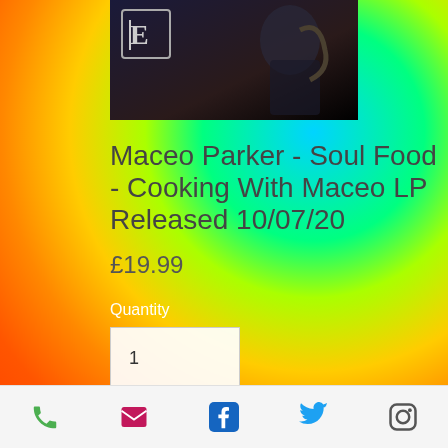[Figure (photo): Album cover photo showing a musician with a saxophone, dark background, with a stylized logo/icon in the upper left]
Maceo Parker - Soul Food - Cooking With Maceo LP Released 10/07/20
£19.99
Quantity
1
Out of Stock
Phone | Email | Facebook | Twitter | Instagram